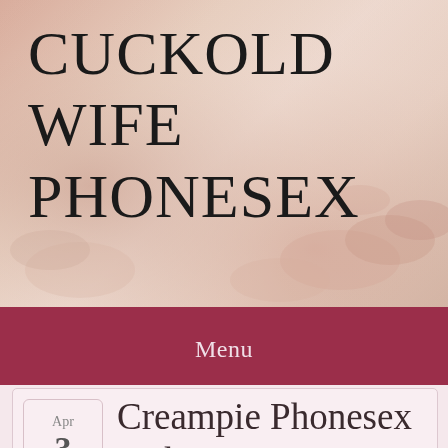[Figure (photo): Website header banner with skin-toned background photo and large site title text 'CUCKOLD WIFE PHONESEX']
CUCKOLD WIFE PHONESEX
Menu
Creampie Phonesex with Snow Bunny Katie
Apr 3